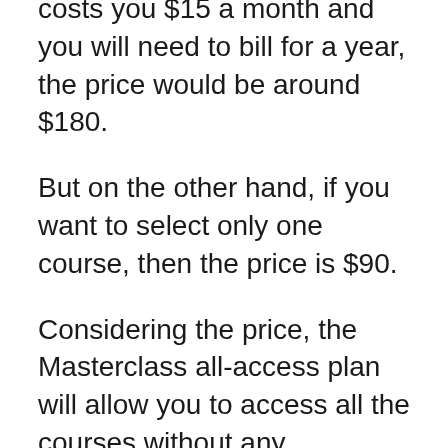costs you $15 a month and you will need to bill for a year, the price would be around $180.
But on the other hand, if you want to select only one course, then the price is $90.
Considering the price, the Masterclass all-access plan will allow you to access all the courses without any restrictions or limitations. But with the individual pass, you will get stuck with one course only.
So to figure out what option will suit you the most, ask yourself, what are the things you would want to learn? If there are more than three things you are interested to